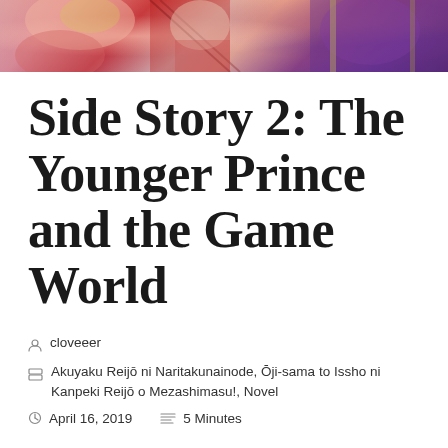[Figure (illustration): Anime-style illustration banner showing colorful characters in red and purple tones at the top of the page]
Side Story 2: The Younger Prince and the Game World
cloveeer
Akuyaku Reijō ni Naritakunainode, Ōji-sama to Issho ni Kanpeki Reijō o Mezashimasu!, Novel
April 16, 2019    5 Minutes